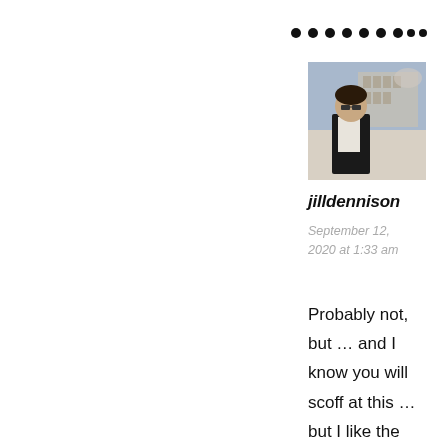[Figure (other): Row of black dots (navigation or pagination indicator)]
[Figure (photo): Profile photo of a person standing outdoors in front of a classical building, wearing sunglasses and a dark jacket]
jilldennison
September 12, 2020 at 1:33 am
Probably not, but … and I know you will scoff at this … but I like the way they